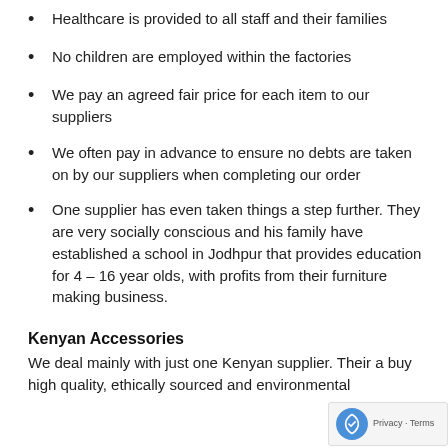Healthcare is provided to all staff and their families
No children are employed within the factories
We pay an agreed fair price for each item to our suppliers
We often pay in advance to ensure no debts are taken on by our suppliers when completing our order
One supplier has even taken things a step further. They are very socially conscious and his family have established a school in Jodhpur that provides education for 4 – 16 year olds, with profits from their furniture making business.
Kenyan Accessories
We deal mainly with just one Kenyan supplier. Their a buy high quality, ethically sourced and environmental friendly products for all customers.